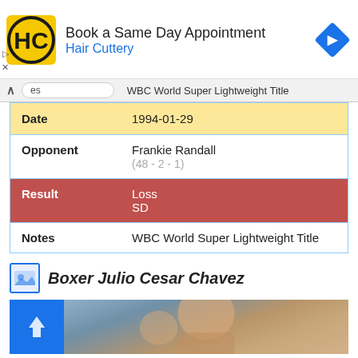[Figure (screenshot): Hair Cuttery advertisement banner with logo, text 'Book a Same Day Appointment / Hair Cuttery', and navigation arrow icon]
|  | WBC World Super Lightweight Title |
| --- | --- |
| Date | 1994-01-29 |
| Opponent | Frankie Randall
(48 - 2 - 1) |
| Result | Loss
SD |
| Notes | WBC World Super Lightweight Title |
Boxer Julio Cesar Chavez
[Figure (photo): Partial photo of boxer Julio Cesar Chavez, with upload button overlay on left side]